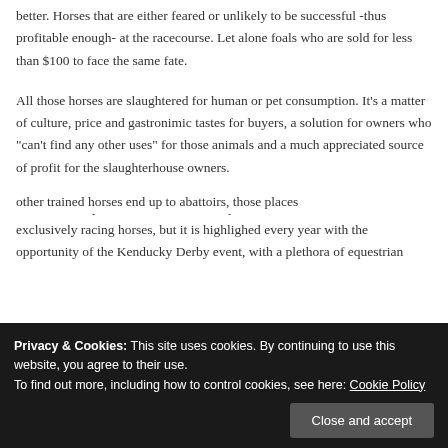better. Horses that are either feared or unlikely to be successful -thus profitable enough- at the racecourse. Let alone foals who are sold for less than $100 to face the same fate.
All those horses are slaughtered for human or pet consumption. It’s a matter of culture, price and gastronimic tastes for buyers, a solution for owners who “can’t find any other uses” for those animals and a much appreciated source of profit for the slaughterhouse owners.
Of course the problem is not exclusively American and does not include exclusively racing horses, but it is highlighed every year with the opportunity of the Kenducky Derby event, with a plethora of equestrian
other trained horses end up to abattoirs, those places
Privacy & Cookies: This site uses cookies. By continuing to use this website, you agree to their use.
To find out more, including how to control cookies, see here: Cookie Policy